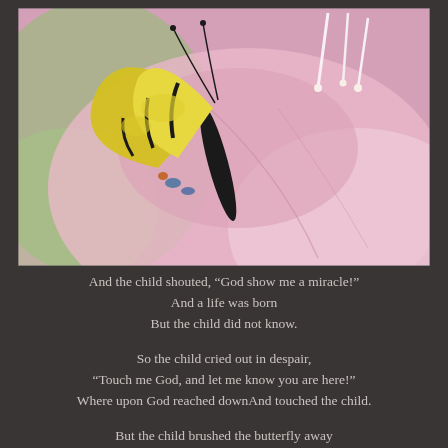[Figure (photo): Close-up photograph of a yellow and black swallowtail butterfly perched on large pink flower petals (likely rhododendron or azalea), with white stamens visible and a soft green background.]
And the child shouted, “God show me a miracle!"
And a life was born
But the child did not know.

So the child cried out in despair,
"Touch me God, and let me know you are here!"
Where upon God reached downAnd touched the child.

But the child brushed the butterfly away